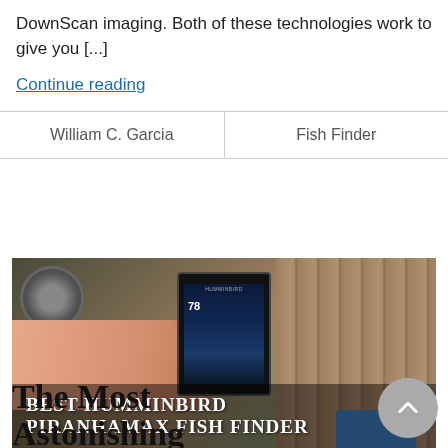DownScan imaging. Both of these technologies work to give you [...]
Continue reading
| William C. Garcia | Fish Finder |
| --- | --- |
[Figure (photo): A person holding a Humminbird fish finder device showing sonar display, with a gauge and wooden fence in background. Overlay text reads BEST HUMMINBIRD PIRANHAMAX FISH FINDER]
The Most Astonishing